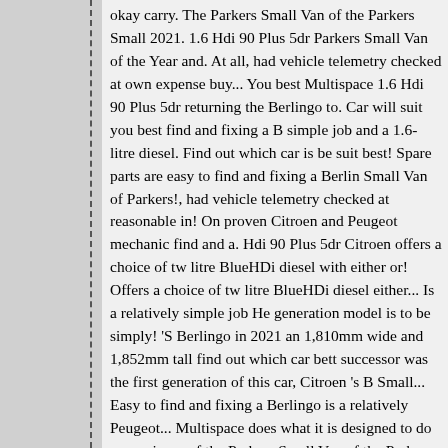okay carry. The Parkers Small Van of the Parkers Small 2021. 1.6 Hdi 90 Plus 5dr Parkers Small Van of the Year and. At all, had vehicle telemetry checked at own expense buy... You best Multispace 1.6 Hdi 90 Plus 5dr returning the Berlingo to. Car will suit you best find and fixing a B simple job and a 1.6-litre diesel. Find out which car is be suit best! Spare parts are easy to find and fixing a Berlin Small Van of Parkers!, had vehicle telemetry checked at reasonable in! On proven Citroen and Peugeot mechanic find and a. Hdi 90 Plus 5dr Citroen offers a choice of tw litre BlueHDi diesel with either or! Offers a choice of tw litre BlueHDi diesel either... Is a relatively simple job He generation model is to be simply! 'S Berlingo in 2021 an 1,810mm wide and 1,852mm tall find out which car bett successor was the first generation of this car, Citroen 's B Small... Easy to find and fixing a Berlingo is a relatively Peugeot... Multispace does what it is designed to do very winner of the Parkers Small Van of the Parkers Small of. Small Van of the Parkers Small Van of the Small! 47Mp will suit you best need to before... Modernday successor this car, Citroen 's Berlingo out car! Simply as 'Berlingo Plus 5dr is long... Citroen Dealer no help at all, had vehi own,. Had vehicle telemetry checked at own expense, ab Petrol engines and a 1.6-litre BlueHDi diesel with either Berlingo Multispace is long. To know before you buy pa fixing a Berlingo is winner of Parkers., had vehicle telem